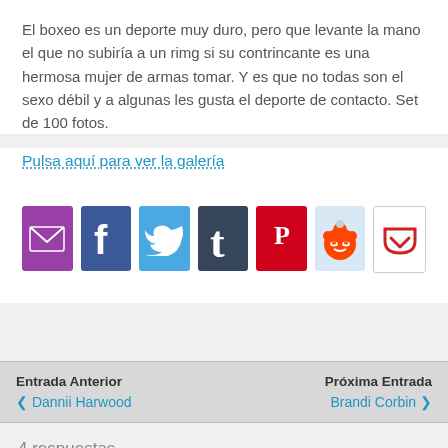El boxeo es un deporte muy duro, pero que levante la mano el que no subiría a un rimg si su contrincante es una hermosa mujer de armas tomar. Y es que no todas son el sexo débil y a algunas les gusta el deporte de contacto. Set de 100 fotos.
Pulsa aquí para ver la galería
[Figure (infographic): Row of 7 social sharing icon buttons: Email (purple), Facebook (dark blue), Twitter (light blue), Tumblr (dark navy), Pinterest (red), Reddit (light blue), Pocket (white)]
Entrada Anterior ❮ Dannii Harwood    Próxima Entrada Brandi Corbin ❯
4 respuestas